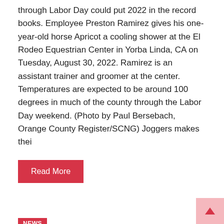through Labor Day could put 2022 in the record books. Employee Preston Ramirez gives his one-year-old horse Apricot a cooling shower at the El Rodeo Equestrian Center in Yorba Linda, CA on Tuesday, August 30, 2022. Ramirez is an assistant trainer and groomer at the center. Temperatures are expected to be around 100 degrees in much of the county through the Labor Day weekend. (Photo by Paul Bersebach, Orange County Register/SCNG) Joggers makes thei
Read More
NEWS
SF Giants: Surgery recommended for Brandon Belt's troublesome knee
Usanewsposts   August 31, 2022   0
SAN FRANCISCO — The same chronic issue in Brandon Belt's right knee that caused him to miss most of spring training.